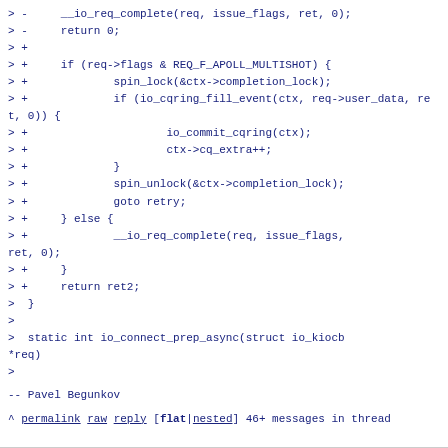> -     __io_req_complete(req, issue_flags, ret, 0);
> -     return 0;
> +
> +     if (req->flags & REQ_F_APOLL_MULTISHOT) {
> +             spin_lock(&ctx->completion_lock);
> +             if (io_cqring_fill_event(ctx, req->user_data, ret, 0)) {
> +                     io_commit_cqring(ctx);
> +                     ctx->cq_extra++;
> +             }
> +             spin_unlock(&ctx->completion_lock);
> +             goto retry;
> +     } else {
> +             __io_req_complete(req, issue_flags,
ret, 0);
> +     }
> +     return ret2;
>  }
>
>  static int io_connect_prep_async(struct io_kiocb
*req)
>
--
Pavel Begunkov
^ permalink raw reply   [flat|nested] 46+ messages in thread